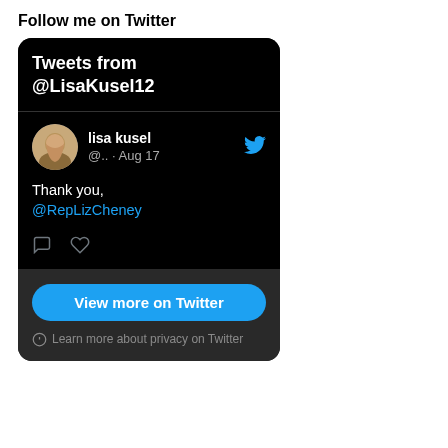Follow me on Twitter
[Figure (screenshot): Twitter widget showing tweets from @LisaKusel12 with a tweet from lisa kusel (@..) on Aug 17 saying 'Thank you, @RepLizCheney', with reply and like icons, a 'View more on Twitter' button, and a privacy note.]